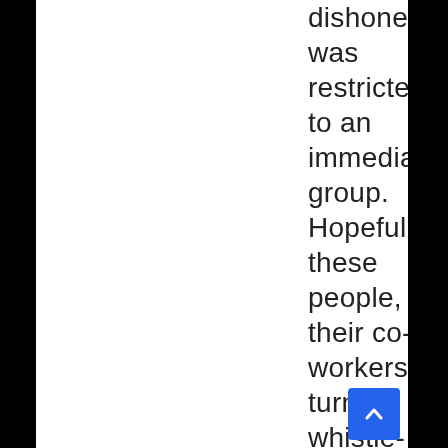dishonesty was restricted to an immediate group. Hopefully, these people, as their co-workers turn whistle-blower or get busted